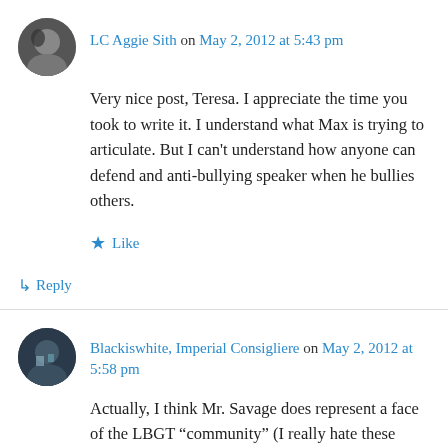[Figure (photo): Circular avatar photo of LC Aggie Sith, dark grayscale image]
LC Aggie Sith on May 2, 2012 at 5:43 pm
Very nice post, Teresa. I appreciate the time you took to write it. I understand what Max is trying to articulate. But I can't understand how anyone can defend and anti-bullying speaker when he bullies others.
★ Like
↳ Reply
[Figure (photo): Circular avatar photo of Blackiswhite, Imperial Consigliere, dark colored image]
Blackiswhite, Imperial Consigliere on May 2, 2012 at 5:58 pm
Actually, I think Mr. Savage does represent a face of the LBGT “community” (I really hate these ephemisms). It is a face that we saw in the